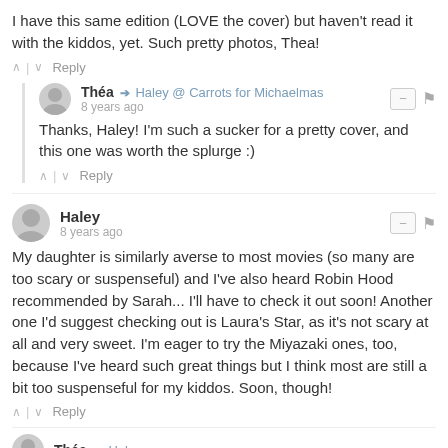I have this same edition (LOVE the cover) but haven't read it with the kiddos, yet. Such pretty photos, Thea!
^ | v Reply
Théa → Haley @ Carrots for Michaelmas
8 years ago
Thanks, Haley! I'm such a sucker for a pretty cover, and this one was worth the splurge :)
^ | v Reply
Haley
8 years ago
My daughter is similarly averse to most movies (so many are too scary or suspenseful) and I've also heard Robin Hood recommended by Sarah... I'll have to check it out soon! Another one I'd suggest checking out is Laura's Star, as it's not scary at all and very sweet. I'm eager to try the Miyazaki ones, too, because I've heard such great things but I think most are still a bit too suspenseful for my kiddos. Soon, though!
^ | v Reply
Théa → Haley